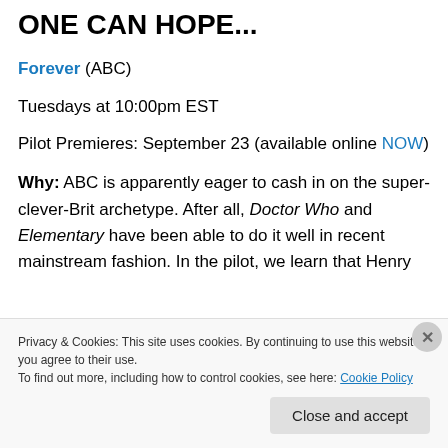ONE CAN HOPE...
Forever (ABC)
Tuesdays at 10:00pm EST
Pilot Premieres: September 23 (available online NOW)
Why:  ABC is apparently eager to cash in on the super-clever-Brit archetype.  After all, Doctor Who and Elementary have been able to do it well in recent mainstream fashion.  In the pilot, we learn that Henry
Privacy & Cookies: This site uses cookies. By continuing to use this website, you agree to their use.
To find out more, including how to control cookies, see here: Cookie Policy